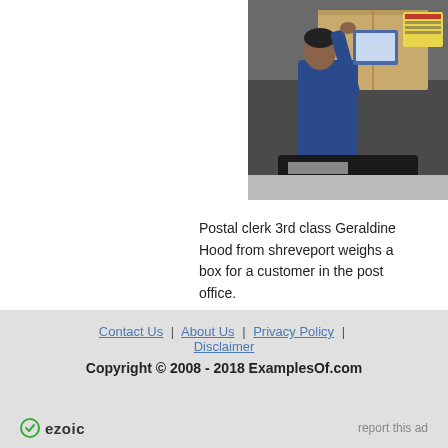[Figure (photo): Postal clerk in blue uniform reaching up to weigh a large cardboard box on a scale at a post office counter.]
Postal clerk 3rd class Geraldine Hood from shreveport weighs a box for a customer in the post office.
Contact Us | About Us | Privacy Policy | Disclaimer
Copyright © 2008 - 2018 ExamplesOf.com
ezoic   report this ad